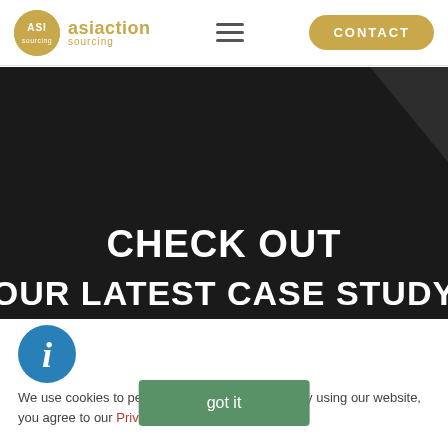[Figure (logo): Asiaction Sourcing logo with golden circle containing ASI initials and text 'asiaction sourcing']
[Figure (screenshot): Navigation header with hamburger menu icon and golden CONTACT button]
[Figure (illustration): Dark diagonal banner with white bold uppercase text 'CHECK OUT OUR LATEST CASE STUDY']
[Figure (illustration): Blue circle info icon (i)]
We use cookies to personalise your experience. By using our website, you agree to our Privacy Policy.
got it